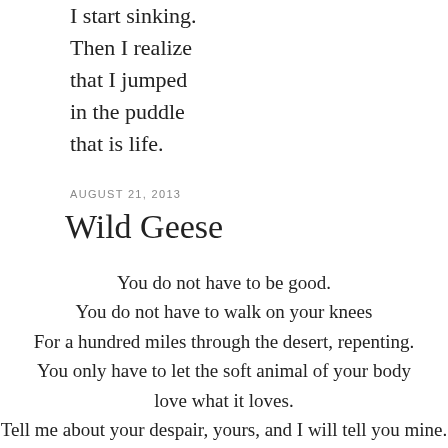I start sinking.
Then I realize
that I jumped
in the puddle
that is life.
AUGUST 21, 2013
Wild Geese
You do not have to be good.
You do not have to walk on your knees
For a hundred miles through the desert, repenting.
You only have to let the soft animal of your body
love what it loves.
Tell me about your despair, yours, and I will tell you mine.
Meanwhile the world goes on.
Meanwhile the sun and the clear pebbles of the rain